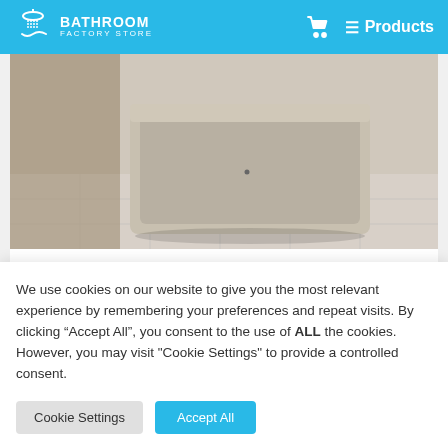BATHROOM FACTORY STORE
[Figure (photo): Bathroom product photo showing a freestanding bathtub or basin in a marble/stone setting, beige/neutral colors]
Sorento High
We use cookies on our website to give you the most relevant experience by remembering your preferences and repeat visits. By clicking “Accept All”, you consent to the use of ALL the cookies. However, you may visit "Cookie Settings" to provide a controlled consent.